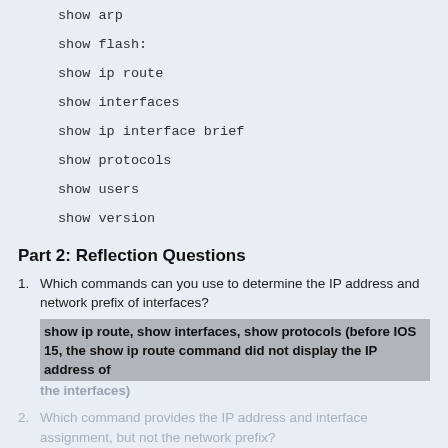show arp
show flash:
show ip route
show interfaces
show ip interface brief
show protocols
show users
show version
Part 2: Reflection Questions
1. Which commands can you use to determine the IP address and network prefix of interfaces?
show ip route, show interfaces, show protocols (before IOS 15, the show ip route command did not display the IP address of the interfaces)
2. Which command provides the IP address and interface assignment, but not the network prefix?
show ip interface brief